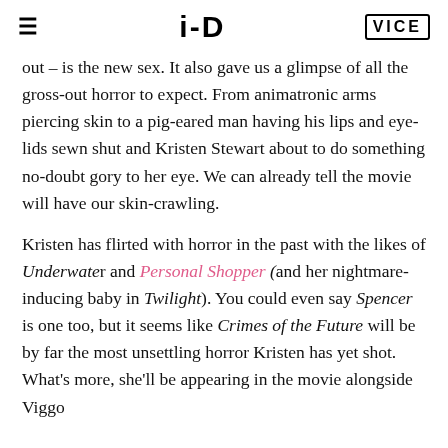i-D  VICE
out – is the new sex. It also gave us a glimpse of all the gross-out horror to expect. From animatronic arms piercing skin to a pig-eared man having his lips and eye-lids sewn shut and Kristen Stewart about to do something no-doubt gory to her eye. We can already tell the movie will have our skin-crawling.
Kristen has flirted with horror in the past with the likes of Underwater and Personal Shopper (and her nightmare-inducing baby in Twilight). You could even say Spencer is one too, but it seems like Crimes of the Future will be by far the most unsettling horror Kristen has yet shot. What's more, she'll be appearing in the movie alongside Viggo